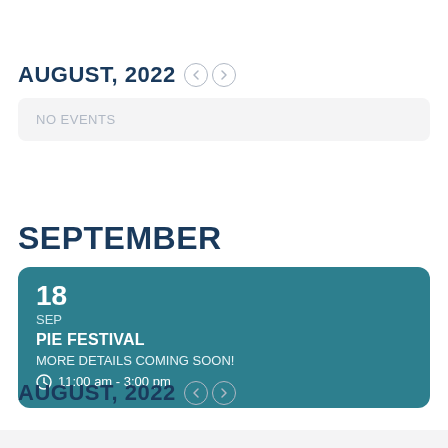AUGUST, 2022
NO EVENTS
SEPTEMBER
18
SEP
PIE FESTIVAL
MORE DETAILS COMING SOON!
11:00 am - 3:00 pm
AUGUST, 2022